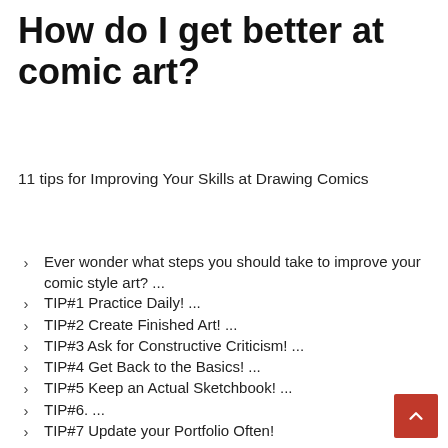How do I get better at comic art?
11 tips for Improving Your Skills at Drawing Comics
Ever wonder what steps you should take to improve your comic style art? ...
TIP#1 Practice Daily! ...
TIP#2 Create Finished Art! ...
TIP#3 Ask for Constructive Criticism! ...
TIP#4 Get Back to the Basics! ...
TIP#5 Keep an Actual Sketchbook! ...
TIP#6. ...
TIP#7 Update your Portfolio Often!